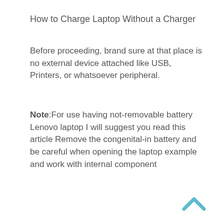How to Charge Laptop Without a Charger
Before proceeding, brand sure at that place is no external device attached like USB, Printers, or whatsoever peripheral.
Note:For use having not-removable battery Lenovo laptop I will suggest you read this article Remove the congenital-in battery and be careful when opening the laptop example and work with internal component